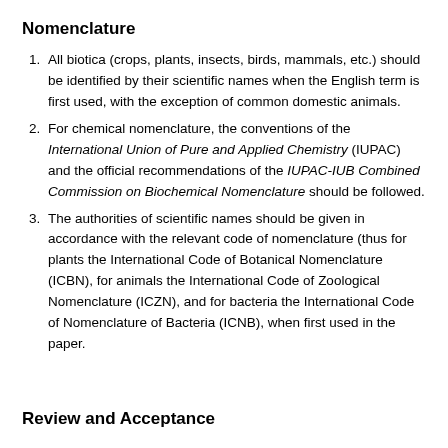Nomenclature
All biotica (crops, plants, insects, birds, mammals, etc.) should be identified by their scientific names when the English term is first used, with the exception of common domestic animals.
For chemical nomenclature, the conventions of the International Union of Pure and Applied Chemistry (IUPAC) and the official recommendations of the IUPAC-IUB Combined Commission on Biochemical Nomenclature should be followed.
The authorities of scientific names should be given in accordance with the relevant code of nomenclature (thus for plants the International Code of Botanical Nomenclature (ICBN), for animals the International Code of Zoological Nomenclature (ICZN), and for bacteria the International Code of Nomenclature of Bacteria (ICNB), when first used in the paper.
Review and Acceptance